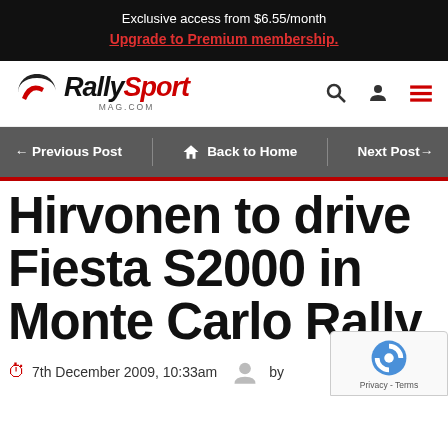Exclusive access from $6.55/month
Upgrade to Premium membership.
[Figure (logo): RallySport Mag.com logo with arc graphic]
← Previous Post   🏠 Back to Home   Next Post→
Hirvonen to drive Fiesta S2000 in Monte Carlo Rally
7th December 2009, 10:33am   by